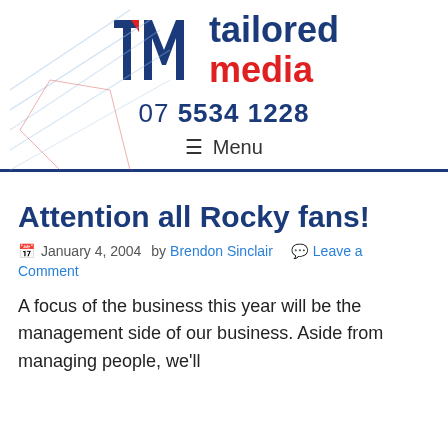[Figure (logo): Tailored Media logo with TM monogram in blue and red, and text 'tailored media' with phone number 07 5534 1228 and Menu navigation]
Attention all Rocky fans!
📅 January 4, 2004  by Brendon Sinclair  💬 Leave a Comment
A focus of the business this year will be the management side of our business. Aside from managing people, we'll also be...